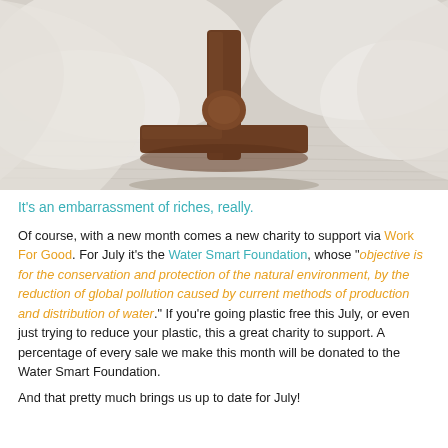[Figure (photo): Photo of the wooden cross-shaped base of a piece of furniture on a light wooden floor, with white fabric/cloth draped around it.]
It's an embarrassment of riches, really.
Of course, with a new month comes a new charity to support via Work For Good. For July it's the Water Smart Foundation, whose "objective is for the conservation and protection of the natural environment, by the reduction of global pollution caused by current methods of production and distribution of water." If you're going plastic free this July, or even just trying to reduce your plastic, this a great charity to support. A percentage of every sale we make this month will be donated to the Water Smart Foundation.
And that pretty much brings us up to date for July!